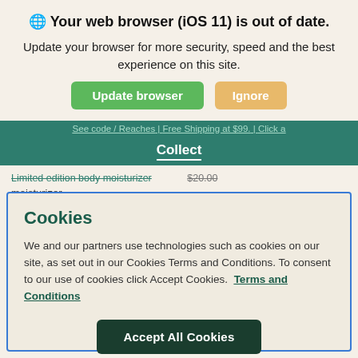🌐 Your web browser (iOS 11) is out of date.
Update your browser for more security, speed and the best experience on this site.
Update browser | Ignore
See code / Reaches | Free Shipping at $99. | Click a
Collect
Limited edition body moisturizer
$11.00 $18.00   $7.00 $10.00
Cookies
We and our partners use technologies such as cookies on our site, as set out in our Cookies Terms and Conditions. To consent to our use of cookies click Accept Cookies.  Terms and Conditions
Accept All Cookies